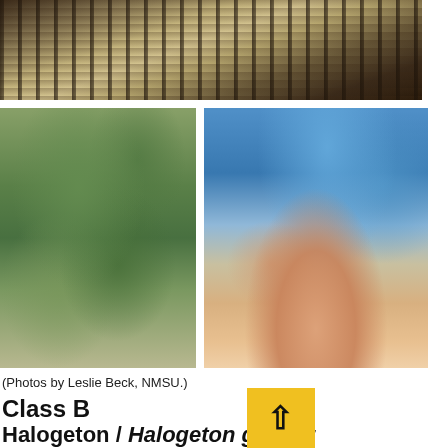[Figure (photo): Wide aerial/ground-level photo of halogeton plant spreading across sandy/gravelly soil, showing dark branching pattern against light sandy background]
[Figure (photo): Close-up photo of halogeton plant showing small green succulent leaves with red tips on branching stems, against rocky/soil background]
[Figure (photo): Close-up photo of a hand holding a halogeton stem showing small cylindrical green leaves with tiny spines, against blue sky background]
(Photos by Leslie Beck, NMSU.)
Class B
Halogeton / Halogeton glomer